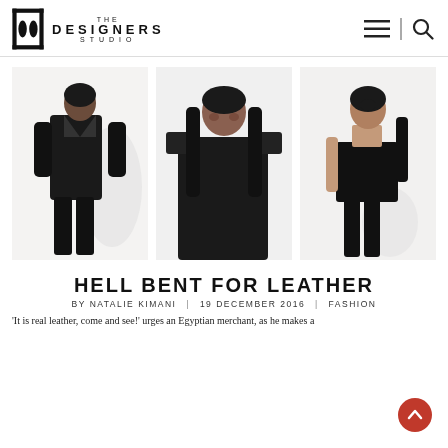THE DESIGNERS STUDIO
[Figure (photo): Three fashion editorial photos showing models in black leather outfits including jackets, boots, gloves and dresses against white backgrounds]
HELL BENT FOR LEATHER
BY NATALIE KIMANI | 19 DECEMBER 2016 | FASHION
'It is real leather, come and see!' urges an Egyptian merchant, as he makes a